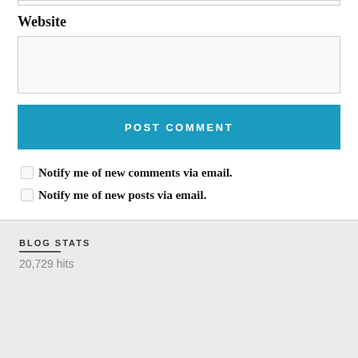Website
[Figure (screenshot): Website text input field (empty, gray background)]
[Figure (screenshot): POST COMMENT button (blue background, white uppercase text)]
Notify me of new comments via email.
Notify me of new posts via email.
BLOG STATS
20,729 hits